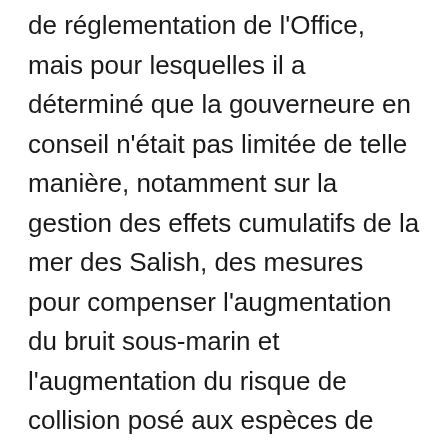de réglementation de l'Office, mais pour lesquelles il a déterminé que la gouverneure en conseil n'était pas limitée de telle manière, notamment sur la gestion des effets cumulatifs de la mer des Salish, des mesures pour compenser l'augmentation du bruit sous-marin et l'augmentation du risque de collision posé aux espèces de poissons et de mammifères marins énumérés à la Loi sur les espèces en péril, y compris les épaulards résidents du sud, l'intervention en cas de déversement d'hydrocarbures en milieu marin, le transport maritime et la